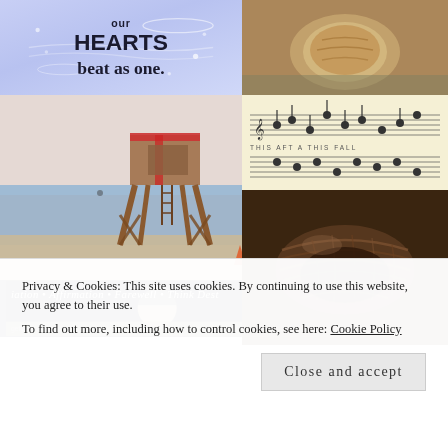[Figure (illustration): Decorative image with purple/blue gradient background and hand-lettered text reading 'HEARTS beat as one.' with stars and swirl decorations]
[Figure (photo): Close-up photo of a round baked good or bread on a surface]
[Figure (photo): Scan of vintage sheet music with multiple staves and lyrics]
[Figure (photo): Beach lifeguard tower photo with wooden structure, ocean and sky in background]
[Figure (photo): Text strip on dark background reading 'iation • Affirmation • Farewell • Think Dest' with beach scene below]
[Figure (photo): Close-up macro photo of a bird's nest or woven fiber material in warm brown tones]
Privacy & Cookies: This site uses cookies. By continuing to use this website, you agree to their use.
To find out more, including how to control cookies, see here: Cookie Policy
Close and accept